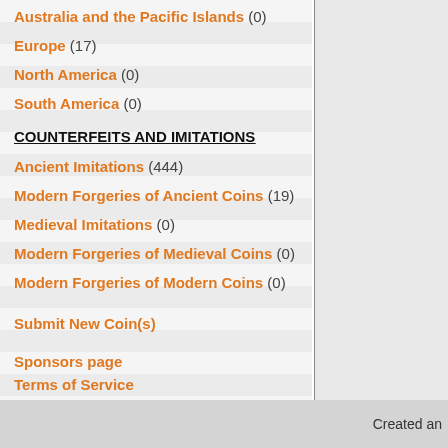Australia and the Pacific Islands (0)
Europe (17)
North America (0)
South America (0)
COUNTERFEITS AND IMITATIONS
Ancient Imitations (444)
Modern Forgeries of Ancient Coins (19)
Medieval Imitations (0)
Modern Forgeries of Medieval Coins (0)
Modern Forgeries of Modern Coins (0)
Submit New Coin(s)
Sponsors page
Terms of Service
Contact Us
About Us
FAQ Page
Created an